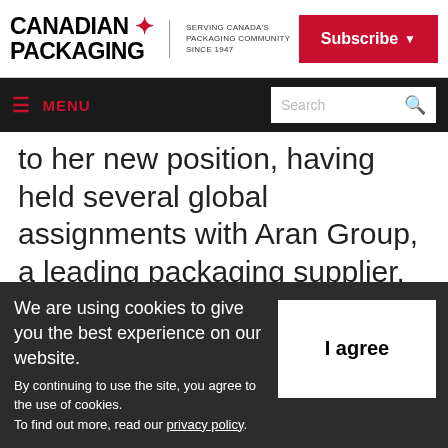CANADIAN PACKAGING — SERVING CANADA'S PACKAGING COMMUNITY SINCE 1947 | Subscribe
≡ MENU | Search
to her new position, having held several global assignments with Aran Group, a leading packaging supplier.
ePac was formed to provide locally-based consumer packaged goods companies the ability to compete with large brands with
We are using cookies to give you the best experience on our website. By continuing to use the site, you agree to the use of cookies. To find out more, read our privacy policy.
I agree